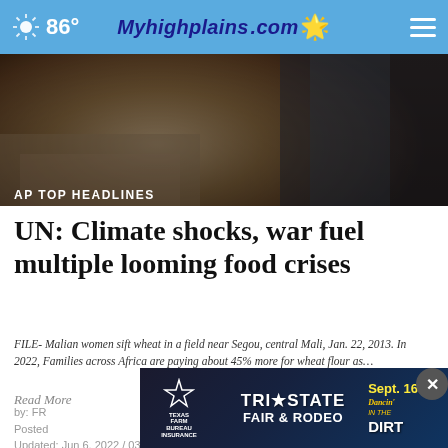86° Myhighplains.com
[Figure (photo): Dark background photo of Malian women, used as hero image for news article]
AP TOP HEADLINES
UN: Climate shocks, war fuel multiple looming food crises
FILE- Malian women sift wheat in a field near Segou, central Mali, Jan. 22, 2013. In 2022, Families across Africa are paying about 45% more for wheat flour as…
Read More
by: FR
Posted
Updated: Jun 6, 2022 / 03:30 PM CDT
[Figure (other): Tri-State Fair & Rodeo advertisement banner: Sept. 16-24, Dancin' in the Dirt]